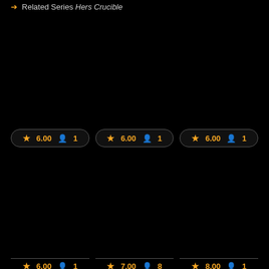→ Related Series Hers Crucible
[Figure (screenshot): Three dark book cover thumbnails in a row, each with a rating badge showing star 6.00 and person icon 1]
[Figure (screenshot): Three dark book cover thumbnails partially visible at the bottom of the page, with partial rating badges showing star ratings and person counts]